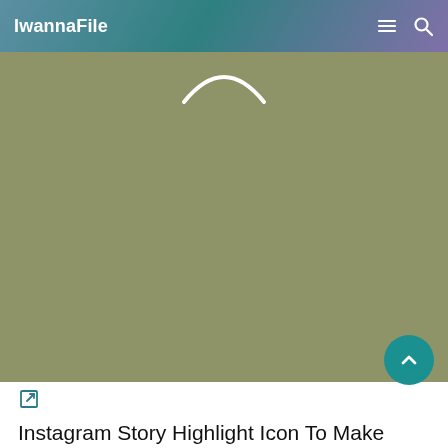IwannaFile
[Figure (screenshot): Large olive/sage green image placeholder with a white partial smiley face arc visible at the top center]
[Figure (other): Edit/external link icon (pen and box outline)]
Instagram Story Highlight Icon To Make Your Instagram Profile Stands Out From The Rest Iphone